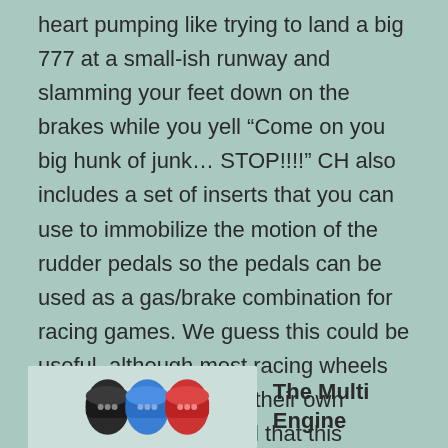heart pumping like trying to land a big 777 at a small-ish runway and slamming your feet down on the brakes while you yell “Come on you big hunk of junk… STOP!!!!” CH also includes a set of inserts that you can use to immobilize the motion of the rudder pedals so the pedals can be used as a gas/brake combination for racing games. We guess this could be useful, although most racing wheels on the market include their own pedals. The geeks feel that this should be the second item on your “to purchase” list.
[Figure (photo): Photo of multi-colored engine connectors/plugs (black, blue, red)]
The Multi Engine